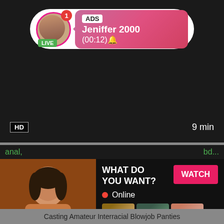[Figure (screenshot): Live notification bar with avatar, LIVE badge, ADS label, name Jeniffer 2000, time (00:12)]
HD
9 min
anal,
bd...
[Figure (photo): Adult content advertisement with photo and WHAT DO YOU WANT? WATCH button, Online indicator, thumbnails, text: Cumming, ass fucking, squirt or... • ADS]
HD
6 min
Casting Amateur Interracial Blowjob Panties